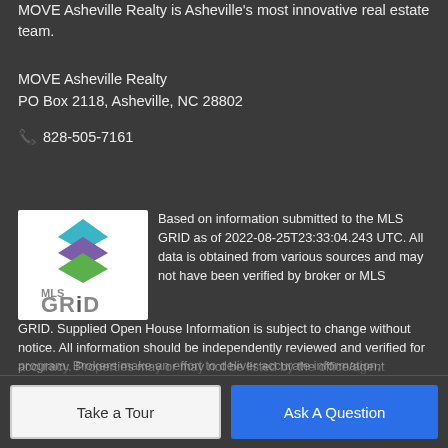MOVE Asheville Realty is Asheville's most innovative real estate team.
MOVE Asheville Realty
PO Box 2118, Asheville, NC 28802
📞 828-505-7161
[Figure (logo): MLS GRID logo with stacked colored diamond shapes above the text 'MLS GRID']
Based on information submitted to the MLS GRID as of 2022-08-25T23:33:04.243 UTC. All data is obtained from various sources and may not have been verified by broker or MLS GRID. Supplied Open House Information is subject to change without notice. All information should be independently reviewed and verified for accuracy. Properties may or may not be listed by the office/agent presenting the information.The data relating to real estate on this Web site derive in part from the Canopy MLS IDX program. Brokers make an effort to deliver accurate information,
Take a Tour
Ask A Question